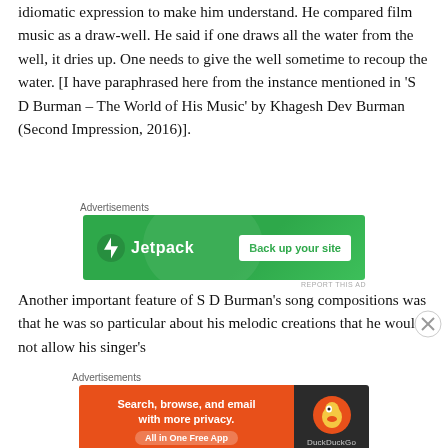idiomatic expression to make him understand. He compared film music as a draw-well. He said if one draws all the water from the well, it dries up. One needs to give the well sometime to recoup the water. [I have paraphrased here from the instance mentioned in 'S D Burman – The World of His Music' by Khagesh Dev Burman (Second Impression, 2016)].
[Figure (screenshot): Jetpack advertisement banner with green background showing Jetpack logo and 'Back up your site' button]
Another important feature of S D Burman's song compositions was that he was so particular about his melodic creations that he would not allow his singer's
[Figure (screenshot): DuckDuckGo advertisement banner with orange left section 'Search, browse, and email with more privacy. All in One Free App' and dark right section with DuckDuckGo duck logo]